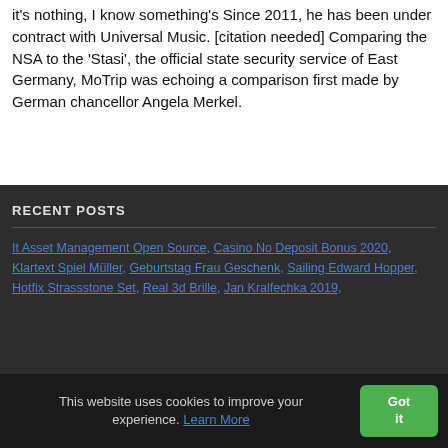it's nothing, I know something's Since 2011, he has been under contract with Universal Music. [citation needed] Comparing the NSA to the 'Stasi', the official state security service of East Germany, MoTrip was echoing a comparison first made by German chancellor Angela Merkel.
RECENT POSTS
It Asset Management Open Source, Casino No Deposit Bonus 2020, Klartext Spiel Müller, Geburtstag Frau Geschenk, Sailing Edward Hopper, Hotfix Strassstone Set, Real 3d Brille, Jan Kralfechka 2019,
This website uses cookies to improve your experience. Learn More